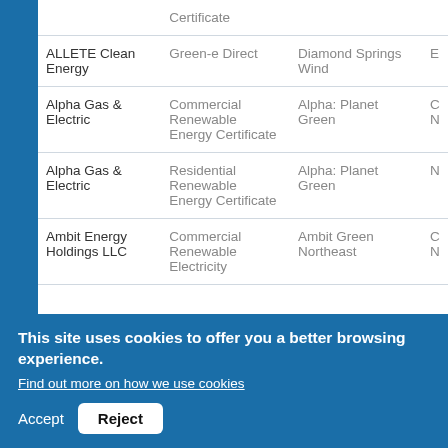| Company | Product Type | Product Name |  |
| --- | --- | --- | --- |
|  | Certificate |  |  |
| ALLETE Clean Energy | Green-e Direct | Diamond Springs Wind | E |
| Alpha Gas & Electric | Commercial Renewable Energy Certificate | Alpha: Planet Green | C N |
| Alpha Gas & Electric | Residential Renewable Energy Certificate | Alpha: Planet Green | N |
| Ambit Energy Holdings LLC | Commercial Renewable Electricity | Ambit Green Northeast | C N |
This site uses cookies to offer you a better browsing experience.
Find out more on how we use cookies